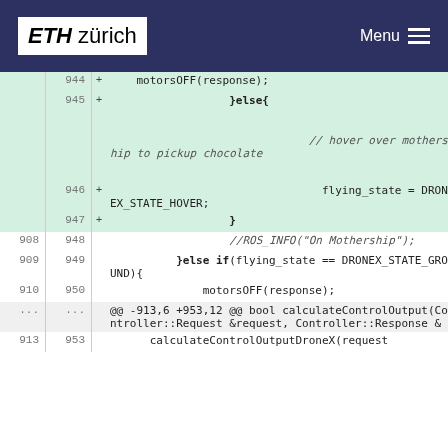ETH zürich   Menu
[Figure (screenshot): Code diff viewer showing changes to a C++ file. Lines 944-953 are shown with added lines (green background) and context lines. The diff shows code for motor control and drone state management including motorsOFF(response), flying_state = DRONEX_STATE_HOVER, and calculateControlOutputDroneX(request) functions.]